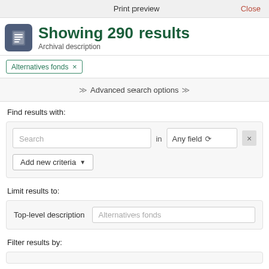Print preview   Close
Showing 290 results
Archival description
Alternatives fonds ×
Advanced search options
Find results with:
Search  in  Any field  ×
Add new criteria
Limit results to:
Top-level description  Alternatives fonds
Filter results by: